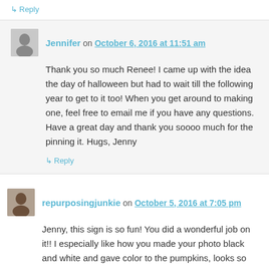↳ Reply
Jennifer on October 6, 2016 at 11:51 am
Thank you so much Renee! I came up with the idea the day of halloween but had to wait till the following year to get to it too! When you get around to making one, feel free to email me if you have any questions. Have a great day and thank you soooo much for the pinning it. Hugs, Jenny
↳ Reply
repurposingjunkie on October 5, 2016 at 7:05 pm
Jenny, this sign is so fun! You did a wonderful job on it!! I especially like how you made your photo black and white and gave color to the pumpkins, looks so cool.
↳ Reply